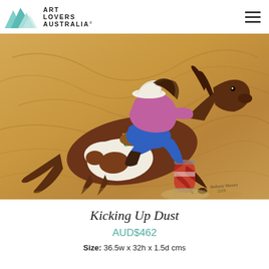ART LOVERS AUSTRALIA
[Figure (photo): Painting of a cowgirl riding a brown and white paint horse galloping around a barrel in a rodeo arena. The horse is leaning into the turn with legs extended. The background shows sandy ground with swirling patterns. Signed 'Bethany Massey 2018' in lower right corner.]
Kicking Up Dust
AUD$462
Size: 36.5w x 32h x 1.5d cms